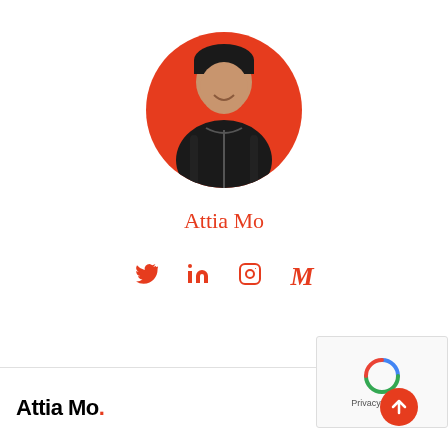[Figure (photo): Circular profile photo of a young man wearing a black beanie and black hoodie, smiling, against a red/orange circular background]
Attia Mo
[Figure (infographic): Row of four social media icons in red/orange: Twitter (bird), LinkedIn (in), Instagram (camera), Medium (M)]
Attia Mo.
[Figure (infographic): Navigation bar with search icon and hamburger menu icon on the right, plus reCAPTCHA widget and back-to-top button overlay]